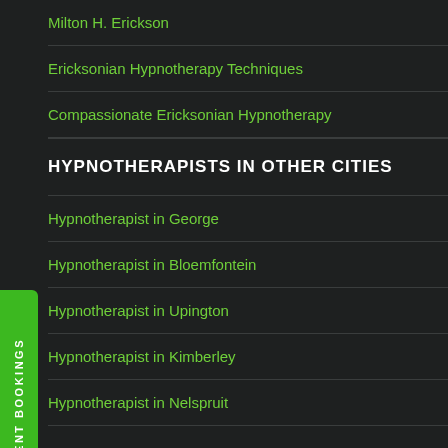Milton H. Erickson
Ericksonian Hypnotherapy Techniques
Compassionate Ericksonian Hypnotherapy
HYPNOTHERAPISTS IN OTHER CITIES
Hypnotherapist in George
Hypnotherapist in Bloemfontein
Hypnotherapist in Upington
Hypnotherapist in Kimberley
Hypnotherapist in Nelspruit